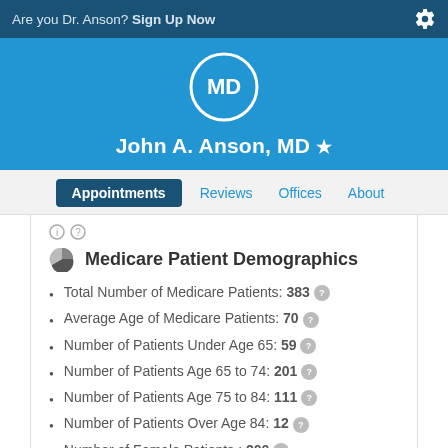Are you Dr. Anson? Sign Up Now
John A. Anson, MD
Appointments | Reviews | Offices | About
Medicare Patient Demographics
Total Number of Medicare Patients: 383
Average Age of Medicare Patients: 70
Number of Patients Under Age 65: 59
Number of Patients Age 65 to 74: 201
Number of Patients Age 75 to 84: 111
Number of Patients Over Age 84: 12
Number of Female Patients : 200